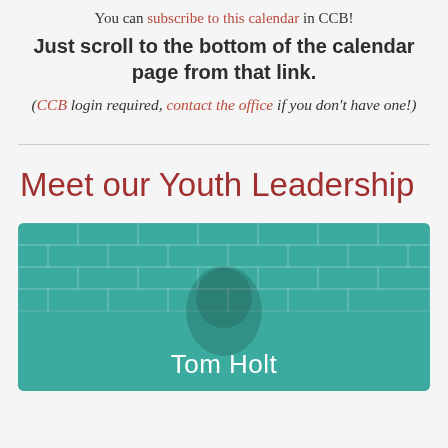You can subscribe to this calendar in CCB!
Just scroll to the bottom of the calendar page from that link.
(CCB login required, contact the office if you don't have one!)
Meet our Youth Leadership
[Figure (photo): Photo card with teal overlay showing a person (Tom Holt) in front of a brick wall background, with name 'Tom Holt' displayed in white text at the bottom.]